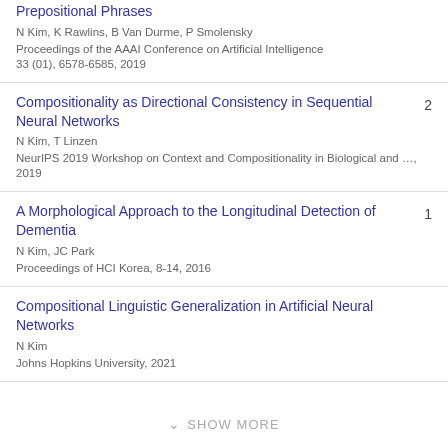Prepositional Phrases
N Kim, K Rawlins, B Van Durme, P Smolensky
Proceedings of the AAAI Conference on Artificial Intelligence 33 (01), 6578-6585, 2019
Compositionality as Directional Consistency in Sequential Neural Networks
N Kim, T Linzen
NeurIPS 2019 Workshop on Context and Compositionality in Biological and …, 2019
2
A Morphological Approach to the Longitudinal Detection of Dementia
N Kim, JC Park
Proceedings of HCI Korea, 8-14, 2016
1
Compositional Linguistic Generalization in Artificial Neural Networks
N Kim
Johns Hopkins University, 2021
SHOW MORE